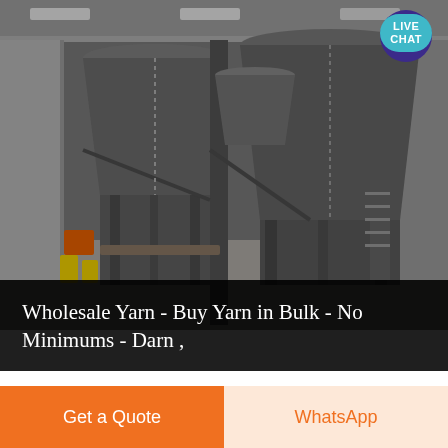[Figure (photo): Industrial factory interior showing large metal silos/hoppers and structural steel framework inside a warehouse building]
Wholesale Yarn - Buy Yarn in Bulk - No Minimums - Darn ,
Why is Darn Good Yarn the best choice for your wholesale creative needs? You will get get access to the highest quality yarn in the world-- Whether you are selling our yarn or using it in a project, you can relax knowing that even the
Get a Quote
WhatsApp